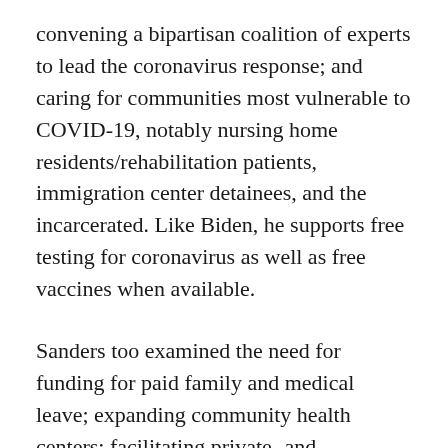convening a bipartisan coalition of experts to lead the coronavirus response; and caring for communities most vulnerable to COVID-19, notably nursing home residents/rehabilitation patients, immigration center detainees, and the incarcerated. Like Biden, he supports free testing for coronavirus as well as free vaccines when available.
Sanders too examined the need for funding for paid family and medical leave; expanding community health centers; facilitating private- and public-sector cooperation to ensure the availability of ICU units, medical